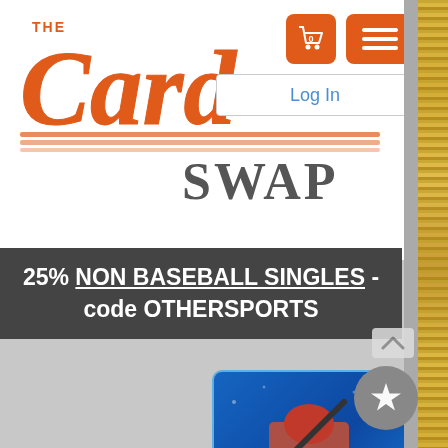[Figure (logo): The Card Swap logo in orange script lettering with SWAP in block letters]
[Figure (screenshot): Shopping cart icon (orange rounded square with '0') and hamburger menu icon (orange rounded square)]
Log In
25% NON BASEBALL SINGLES - code OTHERSPORTS
[Figure (photo): Baseball card of Adam Haseley, Outfielder, shown in batting stance on a blue sparkle background with autograph]